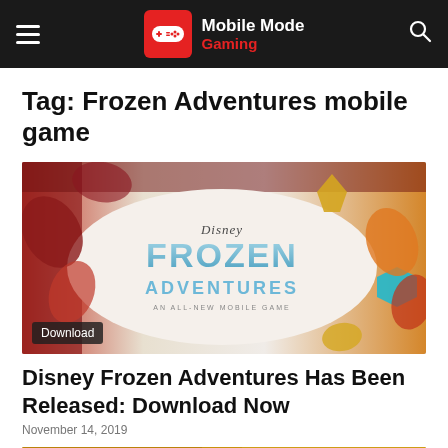Mobile Mode Gaming
Tag: Frozen Adventures mobile game
[Figure (photo): Disney Frozen Adventures promotional image showing the game logo with colorful autumn leaves and gems on a light background. A 'Download' badge is in the lower left corner.]
Disney Frozen Adventures Has Been Released: Download Now
November 14, 2019
[Figure (photo): Partially visible bottom article image, cropped at the bottom of the page.]